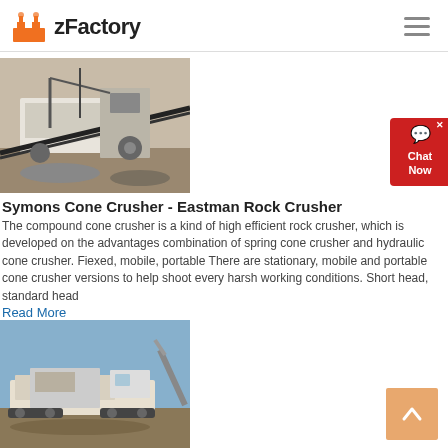zFactory
[Figure (photo): Symons cone crusher machine operating at a quarry/rock crushing site with conveyor belts and machinery visible]
Symons Cone Crusher - Eastman Rock Crusher
The compound cone crusher is a kind of high efficient rock crusher, which is developed on the advantages combination of spring cone crusher and hydraulic cone crusher. Fiexed, mobile, portable There are stationary, mobile and portable cone crusher versions to help shoot every harsh working conditions. Short head, standard head
Read More
[Figure (photo): Mobile cone crusher unit on tracks at an open pit site with construction equipment and excavator visible in background]